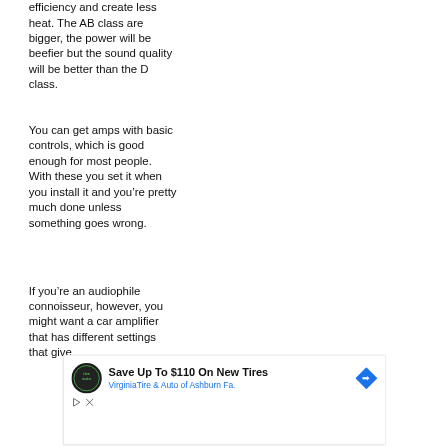efficiency and create less heat. The AB class are bigger, the power will be beefier but the sound quality will be better than the D class.
You can get amps with basic controls, which is good enough for most people. With these you set it when you install it and you're pretty much done unless something goes wrong.
If you're an audiophile connoisseur, however, you might want a car amplifier that has different settings that give...
[Figure (infographic): Advertisement banner: Save Up To $110 On New Tires - VirginiaTire & Auto of Ashburn Fa. with Tire Auto logo and navigation arrow icon]